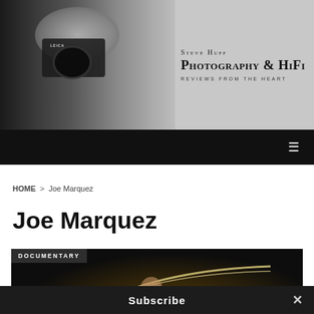[Figure (photo): Steve Huff Photography & HiFi website header banner with a man holding a Leica camera in black and white on the left, and text 'Steve Huff Photography & HiFi — Reviews from the Heart' on the right]
≡
HOME > Joe Marquez
Joe Marquez
[Figure (photo): Article card showing a woman in theatrical costume holding a large sword/scimitar above her head with a dark background, tagged DOCUMENTARY]
Subscribe
✕